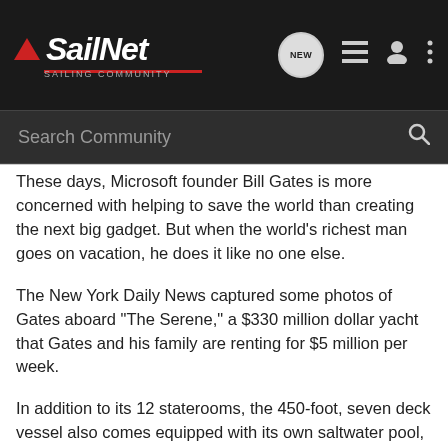SailNet SAILING COMMUNITY
These days, Microsoft founder Bill Gates is more concerned with helping to save the world than creating the next big gadget. But when the world's richest man goes on vacation, he does it like no one else.
The New York Daily News captured some photos of Gates aboard "The Serene," a $330 million dollar yacht that Gates and his family are renting for $5 million per week.
In addition to its 12 staterooms, the 450-foot, seven deck vessel also comes equipped with its own saltwater pool, climbing wall, library, health spa, outdoor theater and even a nightclub spread out over the boat's combined 48,000 square feet.
Attachments